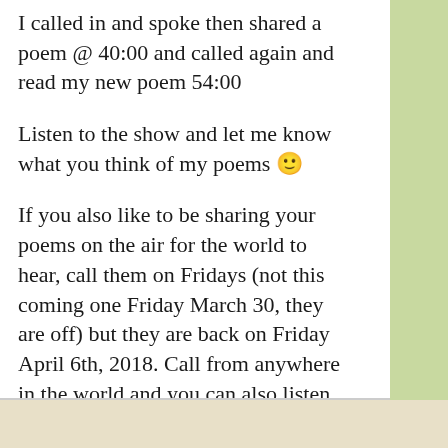I called in and spoke then shared a poem @ 40:00 and called again and read my new poem 54:00
Listen to the show and let me know what you think of my poems 🙂
If you also like to be sharing your poems on the air for the world to hear, call them on Fridays (not this coming one Friday March 30, they are off) but they are back on Friday April 6th, 2018. Call from anywhere in the world and you can also listen live.